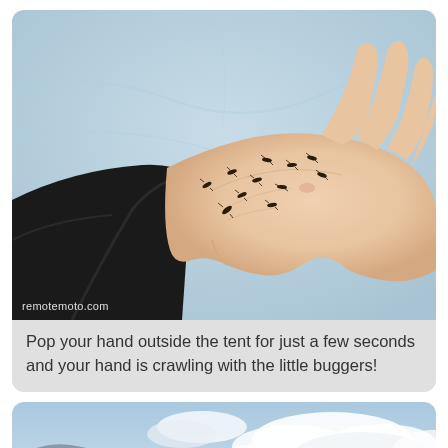[Figure (photo): A human hand resting on a light blue surface, with numerous small black insects (midges/gnats) crawling on the back of the hand and wrist. The person is wearing a black long-sleeved jacket. A watermark 'remotemoto.com' appears at the bottom left of the image.]
Pop your hand outside the tent for just a few seconds and your hand is crawling with the little buggers!
[Figure (photo): A sky scene with blue sky, white clouds, and mountains or hills partially visible at the lower left. The image is partially cropped at the bottom of the page.]